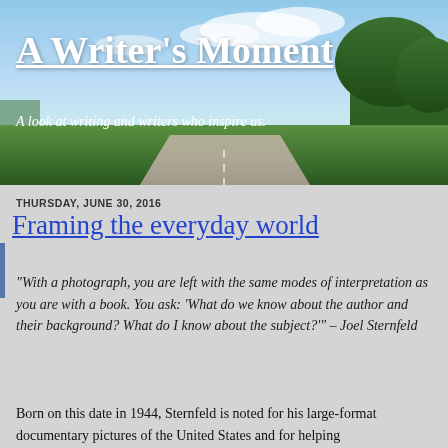[Figure (photo): Blog header banner showing a scenic road with blue sky, clouds, and green trees in the background]
A Writer's Moment
A look at writing and writers who inspire us.
THURSDAY, JUNE 30, 2016
Framing the everyday world
“With a photograph, you are left with the same modes of interpretation as you are with a book. You ask: 'What do we know about the author and their background? What do I know about the subject?'” – Joel Sternfeld
Born on this date in 1944, Sternfeld is noted for his large-format documentary pictures of the United States and for helping